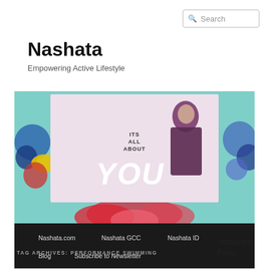[Figure (screenshot): Search box in top right corner with magnifying glass icon and 'Search' placeholder text]
Nashata
Empowering Active Lifestyle
[Figure (illustration): Website banner image with teal/floral background, pink center panel showing a woman in hijab and abaya with text 'ITS ALL ABOUT YOU', and dark navigation bar below with links: Nashata.com, Nashata GCC, Nashata ID, Blog, Subscribe to Newsletter]
TAG ARCHIVES: PERFORMANCE SWIMMING
Instagram Feed